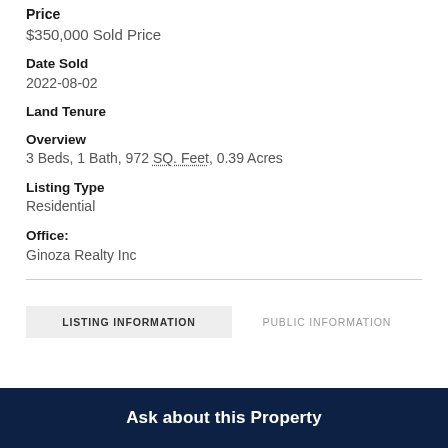Price
$350,000 Sold Price
Date Sold
2022-08-02
Land Tenure
Overview
3 Beds, 1 Bath, 972 SQ. Feet, 0.39 Acres
Listing Type
Residential
Office:
Ginoza Realty Inc
LISTING INFORMATION
PUBLIC INFORMATION
Ask about this Property